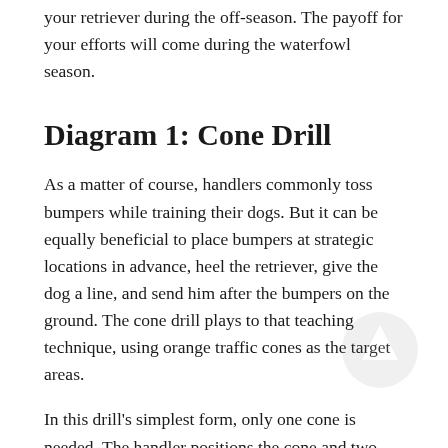your retriever during the off-season. The payoff for your efforts will come during the waterfowl season.
Diagram 1: Cone Drill
As a matter of course, handlers commonly toss bumpers while training their dogs. But it can be equally beneficial to place bumpers at strategic locations in advance, heel the retriever, give the dog a line, and send him after the bumpers on the ground. The cone drill plays to that teaching technique, using orange traffic cones as the target areas.
In this drill's simplest form, only one cone is needed. The handler positions the cone and two bumpers 15 to 20 yards away from the start position. Send the